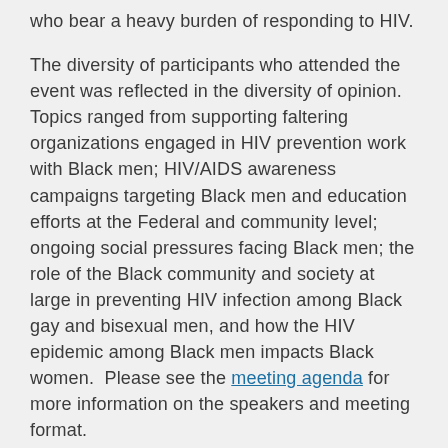who bear a heavy burden of responding to HIV.
The diversity of participants who attended the event was reflected in the diversity of opinion. Topics ranged from supporting faltering organizations engaged in HIV prevention work with Black men; HIV/AIDS awareness campaigns targeting Black men and education efforts at the Federal and community level; ongoing social pressures facing Black men; the role of the Black community and society at large in preventing HIV infection among Black gay and bisexual men, and how the HIV epidemic among Black men impacts Black women. Please see the meeting agenda for more information on the speakers and meeting format.
As a scientist who has spent the last 10 years addressing this topic while at the Centers for Disease Control and Prevention, I believe that this type of dialogue is essential to improving our country's response to HIV/AIDS. This conversation needs to continue, but more importantly, it needs to be followed by